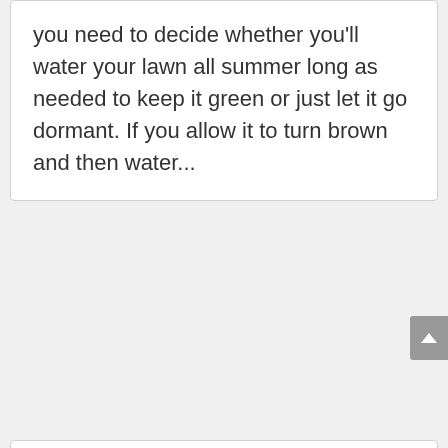you need to decide whether you'll water your lawn all summer long as needed to keep it green or just let it go dormant. If you allow it to turn brown and then water...
Lawn Care
Oct 14, 2014
The first step in proper lawn care is having a lush, beautiful, and weed-free lawn is choosing the right grass for your site. Whenever possible, plant low-maintenance, pest-